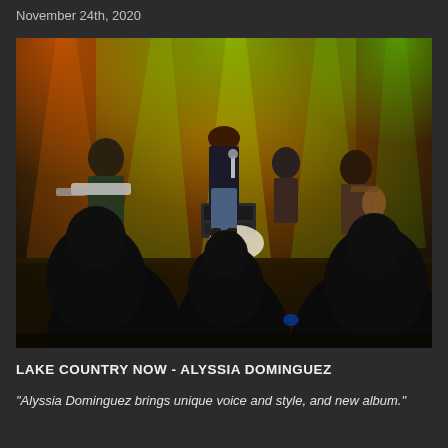November 24th, 2020
[Figure (photo): Concert photo showing a female singer performing on stage with a full band including guitarist, drummer, and other musicians. Green and orange stage lights beam from above. Audience silhouettes visible in foreground.]
LAKE COUNTRY NOW - ALYSSIA DOMINGUEZ
"Alyssia Dominguez brings unique voice and style, and new album."